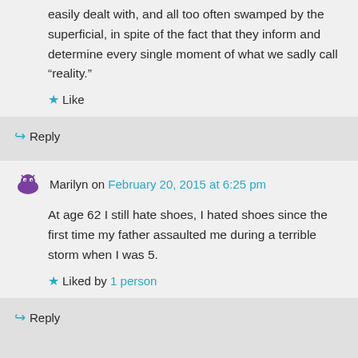easily dealt with, and all too often swamped by the superficial, in spite of the fact that they inform and determine every single moment of what we sadly call “reality.”
★ Like
↪ Reply
Marilyn on February 20, 2015 at 6:25 pm
At age 62 I still hate shoes, I hated shoes since the first time my father assaulted me during a terrible storm when I was 5.
★ Liked by 1 person
↪ Reply